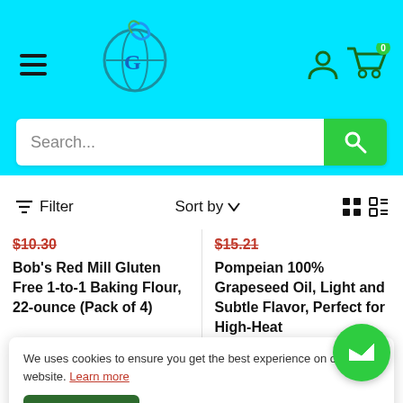[Figure (screenshot): E-commerce website header with cyan/turquoise background, hamburger menu, logo, user icon, cart icon with badge showing 0]
[Figure (screenshot): Search bar with placeholder text 'Search...' and green search button]
Filter   Sort by   [grid/list icons]
$10.30
$15.21
Bob's Red Mill Gluten Free 1-to-1 Baking Flour, 22-ounce (Pack of 4)
Pompeian 100% Grapeseed Oil, Light and Subtle Flavor, Perfect for High-Heat
We uses cookies to ensure you get the best experience on our website. Learn more
Yes, I Agree